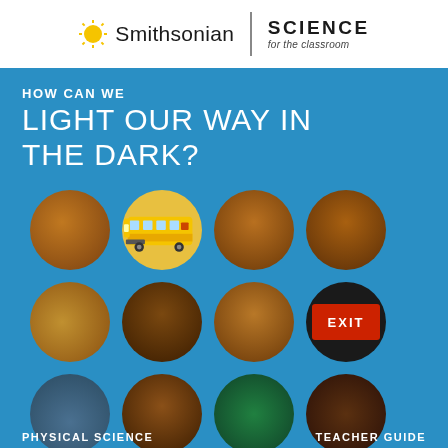[Figure (logo): Smithsonian Science for the Classroom logo with sun icon, Smithsonian wordmark, divider, and SCIENCE for the classroom text]
HOW CAN WE LIGHT OUR WAY IN THE DARK?
[Figure (illustration): Blue cover background with 12 circular images arranged in a 4x3 grid showing various light-related subjects: cave interiors, a yellow school bus, tall trees, wood grain, sandy texture, cave passage, warm lit interior, EXIT sign, lighthouse at sunset, cave interior, glowing green firefly/bug, dark wood. Bottom labels read PHYSICAL SCIENCE and TEACHER GUIDE.]
PHYSICAL SCIENCE    TEACHER GUIDE